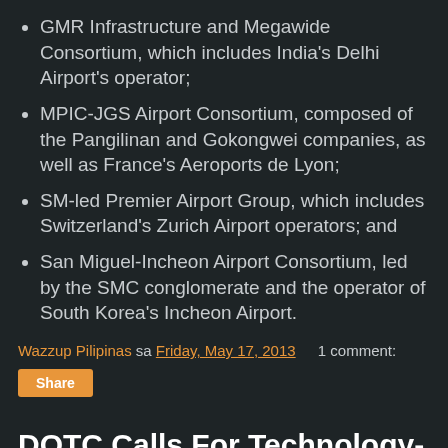GMR Infrastructure and Megawide Consortium, which includes India's Delhi Airport's operator;
MPIC-JGS Airport Consortium, composed of the Pangilinan and Gokongwei companies, as well as France's Aeroports de Lyon;
SM-led Premier Airport Group, which includes Switzerland's Zurich Airport operators; and
San Miguel-Incheon Airport Consortium, led by the SMC conglomerate and the operator of South Korea's Incheon Airport.
Wazzup Pilipinas sa Friday, May 17, 2013   1 comment:
Share
DOTC Calls For Technology-Based Proposals To Solve Illegal Bus Operations